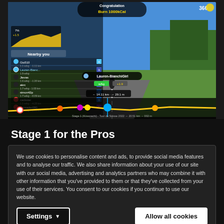[Figure (screenshot): Zwift cycling game screenshot showing Stage 1 (Küssnacht) - Tour de Suisse 2022 route. A cyclist avatar labeled 'Lauren-BianchiGirl' rides on a road through green alpine scenery. Left panel shows 'Nearby you' leaderboard with riders. Bottom shows elevation profile with route markers. Top shows Congratulation 'Burn 1000kCal' notification and score 366.]
Stage 1 for the Pros
We use cookies to personalise content and ads, to provide social media features and to analyse our traffic. We also share information about your use of our site with our social media, advertising and analytics partners who may combine it with other information that you've provided to them or that they've collected from your use of their services. You consent to our cookies if you continue to use our website.
Settings ▼
Allow all cookies